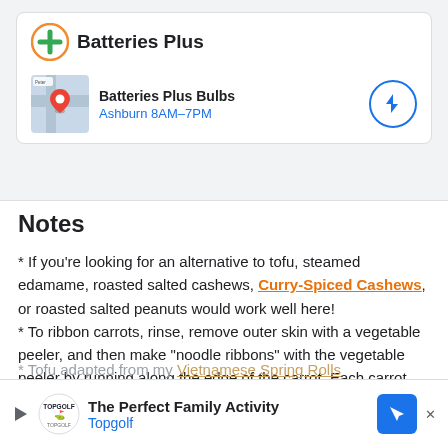[Figure (screenshot): Google search result card showing Batteries Plus with logo and a sub-card for Batteries Plus Bulbs in Ashburn 8AM-7PM with a map thumbnail and navigation button]
Notes
* If you're looking for an alternative to tofu, steamed edamame, roasted salted cashews, Curry-Spiced Cashews, or roasted salted peanuts would work well here!
* To ribbon carrots, rinse, remove outer skin with a vegetable peeler, and then make "noodle ribbons" with the vegetable peeler by running along the edge of the carrot. Each carrot should make about 10 noodles!
* Salad dressing adapted from Thai Kitchen and my Vega...
* Tofu adapted from my [Vietnamese Spring Rolls]
[Figure (screenshot): Advertisement bar for Topgolf reading 'The Perfect Family Activity Topgolf' with logo and navigation arrow button]